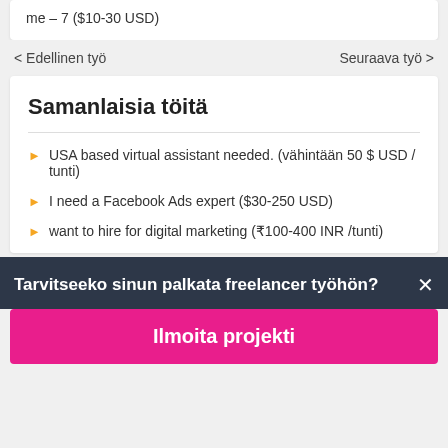me – 7 ($10-30 USD)
< Edellinen työ
Seuraava työ >
Samanlaisia töitä
USA based virtual assistant needed. (vähintään 50 $ USD / tunti)
I need a Facebook Ads expert ($30-250 USD)
want to hire for digital marketing (₹100-400 INR /tunti)
Tarvitseeko sinun palkata freelancer työhön?
Ilmoita projekti